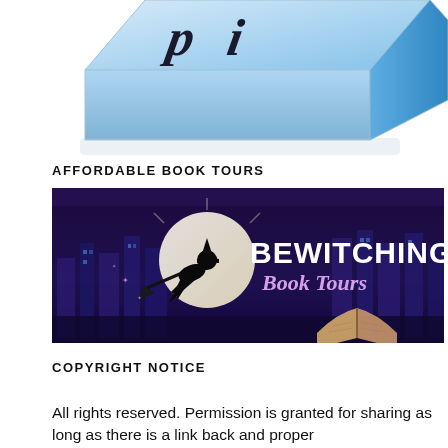[Figure (illustration): Partial view of a light blue 3D box/book with dark stylized text on it, cut off at the top of the page]
AFFORDABLE BOOK TOURS
[Figure (logo): Bewitching Book Tours banner: dark purple/blue night cityscape background with a witch silhouette flying on a broomstick in front of a full moon, with the text 'BEWITCHING Book Tours' in bold white and purple lettering, and an open book in the lower right corner]
COPYRIGHT NOTICE
All rights reserved. Permission is granted for sharing as long as there is a link back and proper